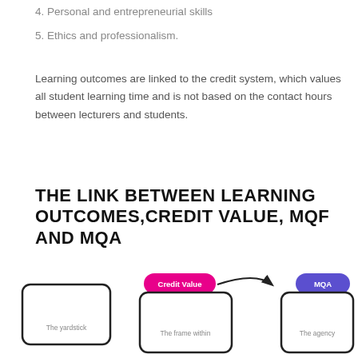4. Personal and entrepreneurial skills
5. Ethics and professionalism.
Learning outcomes are linked to the credit system, which values all student learning time and is not based on the contact hours between lecturers and students.
THE LINK BETWEEN LEARNING OUTCOMES,CREDIT VALUE, MQF AND MQA
[Figure (flowchart): A flowchart diagram showing the link between Credit Value, MQF, and MQA with labeled boxes. Partially visible at the bottom of the page. Boxes include: The yardstick, The frame within, The agency, with labels Credit Value and MQA shown in colored pill-shaped buttons.]